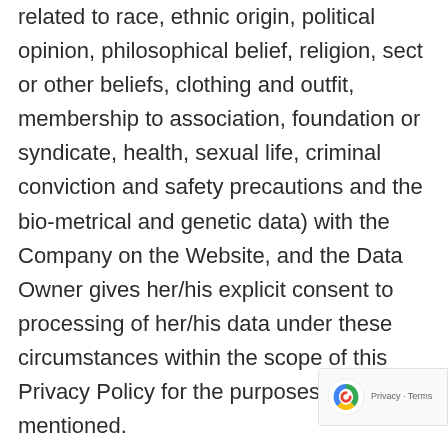related to race, ethnic origin, political opinion, philosophical belief, religion, sect or other beliefs, clothing and outfit, membership to association, foundation or syndicate, health, sexual life, criminal conviction and safety precautions and the bio-metrical and genetic data) with the Company on the Website, and the Data Owner gives her/his explicit consent to processing of her/his data under these circumstances within the scope of this Privacy Policy for the purposes mentioned.
Pursuant to the Article 3 and 7 of the PPD Law, anonymized data shall not be considered as personal data in accordance with the provisions of the referred law, and processing activities related to this data shall be